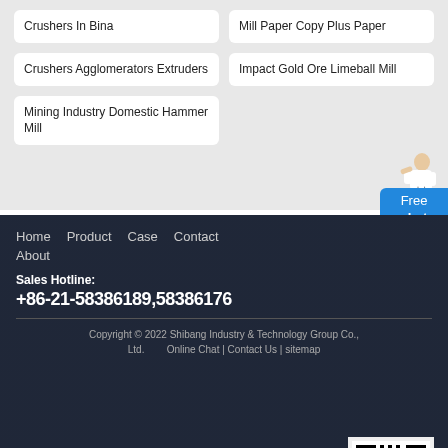Crushers In Bina
Mill Paper Copy Plus Paper
Crushers Agglomerators Extruders
Impact Gold Ore Limeball Mill
Mining Industry Domestic Hammer Mill
Home   Product   Case   Contact   About
Sales Hotline:
+86-21-58386189,58386176
Copyright © 2022 Shibang Industry & Technology Group Co., Ltd.   Online Chat | Contact Us | sitemap